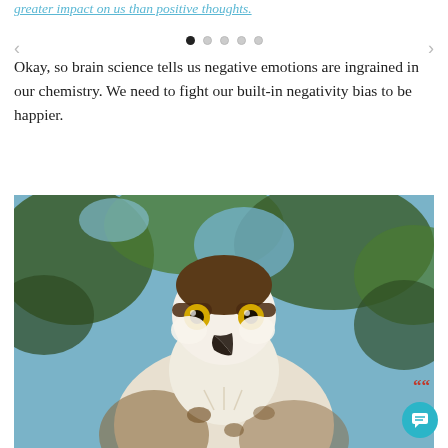greater impact on us than positive thoughts.
[Figure (other): Carousel navigation dots (1 filled, 4 empty) with left and right arrow navigation controls]
Okay, so brain science tells us negative emotions are ingrained in our chemistry. We need to fight our built-in negativity bias to be happier.
[Figure (photo): Close-up photograph of an osprey bird with striking yellow eyes, white and brown feathers, looking directly at the camera, with blurred green foliage and blue sky in the background.]